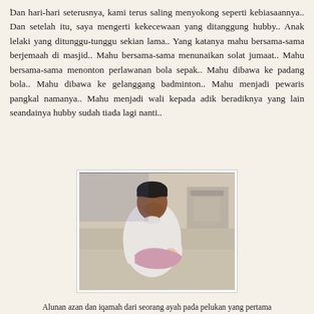. Dan hari-hari seterusnya, kami terus saling menyokong seperti kebiasaannya.. Dan setelah itu, saya mengerti kekecewaan yang ditanggung hubby.. Anak lelaki yang ditunggu-tunggu sekian lama.. Yang katanya mahu bersama-sama berjemaah di masjid.. Mahu bersama-sama menunaikan solat jumaat.. Mahu bersama-sama menonton perlawanan bola sepak.. Mahu dibawa ke padang bola.. Mahu dibawa ke gelanggang badminton.. Mahu menjadi pewaris pangkal namanya.. Mahu menjadi wali kepada adik beradiknya yang lain seandainya hubby sudah tiada lagi nanti..
[Figure (photo): A man in a white baju melayu holding a newborn baby in a hospital room. The father is looking down at the infant tenderly. Background shows a light-colored hospital room with a bassinet.]
Alunan azan dan iqamah dari seorang ayah pada pelukan yang pertama